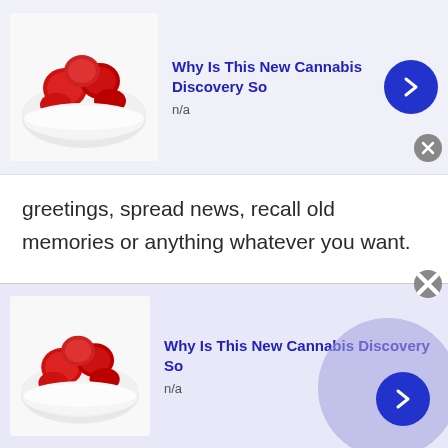[Figure (other): Advertisement banner: image of red gummies/candy in a bowl, with headline 'Why Is This New Cannabis Discovery So' and subtext 'n/a', with a blue circular arrow button and close X button]
greetings, spread news, recall old memories or anything whatever you want.
Community chat
If you are bored with your current friend's circle then why not try Talkwithstranger community chat? Talkwithstranger social community chat is a place to find like-minded people who are always willing to connect and discuss different topics of interests,
[Figure (other): Advertisement banner at bottom: image of red gummies/candy in a bowl, with headline 'Why Is This New Cannabis Discovery So' and subtext 'n/a', with a blue circular arrow button, close X button, and large translucent circle overlay]